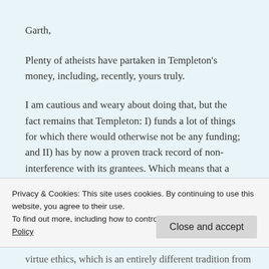Garth,
Plenty of atheists have partaken in Templeton's money, including, recently, yours truly.
I am cautious and weary about doing that, but the fact remains that Templeton: I) funds a lot of things for which there would otherwise not be any funding; and II) has by now a proven track record of non-interference with its grantees. Which means that a priori rejection of Templeton is beginning to look very much ideologically
Privacy & Cookies: This site uses cookies. By continuing to use this website, you agree to their use.
To find out more, including how to control cookies, see here: Cookie Policy
virtue ethics, which is an entirely different tradition from